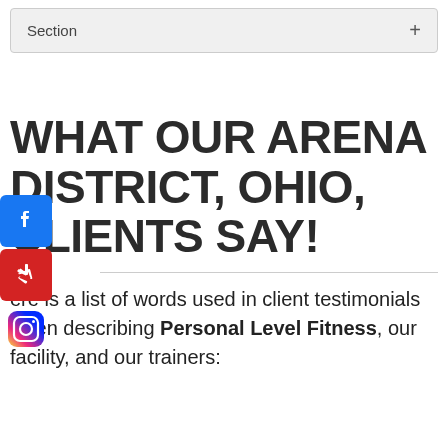Section  +
WHAT OUR ARENA DISTRICT, OHIO, CLIENTS SAY!
Here is a list of words used in client testimonials when describing Personal Level Fitness, our facility, and our trainers: